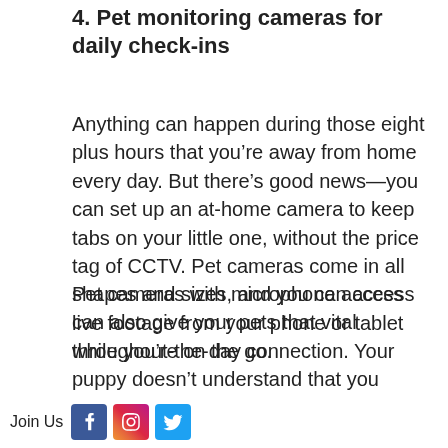4. Pet monitoring cameras for daily check-ins
Anything can happen during those eight plus hours that you’re away from home every day. But there’s good news—you can set up an at-home camera to keep tabs on your little one, without the price tag of CCTV. Pet cameras come in all shapes and sizes, and you can access live footage from your phone or tablet while you’re on the go.
Pet cameras with microphone access can also give your pets that vital throughout-the-day connection. Your puppy doesn’t understand that you
Join Us